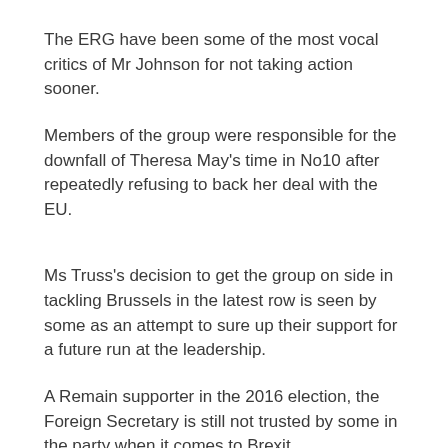The ERG have been some of the most vocal critics of Mr Johnson for not taking action sooner.
Members of the group were responsible for the downfall of Theresa May's time in No10 after repeatedly refusing to back her deal with the EU.
Ms Truss's decision to get the group on side in tackling Brussels in the latest row is seen by some as an attempt to sure up their support for a future run at the leadership.
A Remain supporter in the 2016 election, the Foreign Secretary is still not trusted by some in the party when it comes to Brexit.
Her decision to reject calls for a cut in civil service numbers has also raised eyebrows.